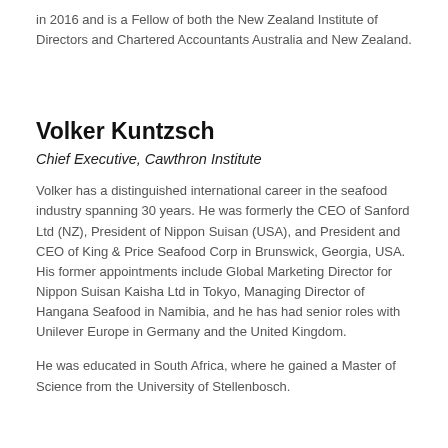in 2016 and is a Fellow of both the New Zealand Institute of Directors and Chartered Accountants Australia and New Zealand.
Volker Kuntzsch
Chief Executive, Cawthron Institute
Volker has a distinguished international career in the seafood industry spanning 30 years. He was formerly the CEO of Sanford Ltd (NZ), President of Nippon Suisan (USA), and President and CEO of King & Price Seafood Corp in Brunswick, Georgia, USA. His former appointments include Global Marketing Director for Nippon Suisan Kaisha Ltd in Tokyo, Managing Director of Hangana Seafood in Namibia, and he has had senior roles with Unilever Europe in Germany and the United Kingdom.
He was educated in South Africa, where he gained a Master of Science from the University of Stellenbosch.